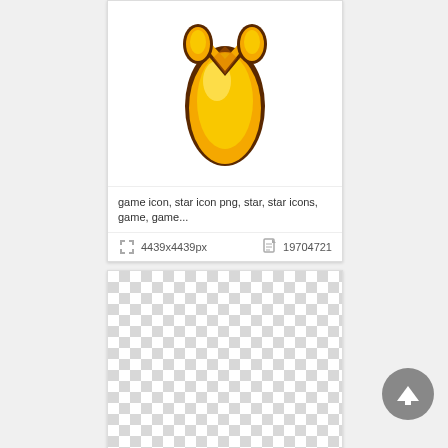[Figure (illustration): Orange/yellow star or flame icon (game asset), top portion visible, with dark brown outline and glossy golden-orange coloring]
game icon, star icon png, star, star icons, game, game...
4439x4439px   19704721
[Figure (illustration): Checkerboard transparency pattern indicating a transparent PNG image background]